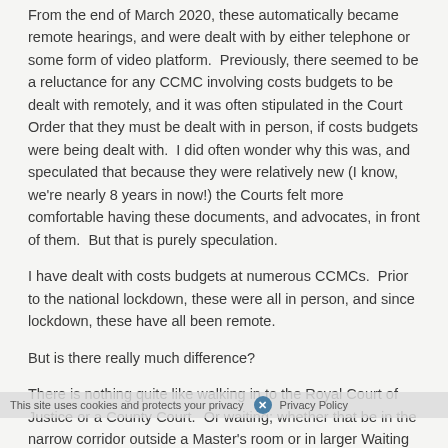From the end of March 2020, these automatically became remote hearings, and were dealt with by either telephone or some form of video platform.  Previously, there seemed to be a reluctance for any CCMC involving costs budgets to be dealt with remotely, and it was often stipulated in the Court Order that they must be dealt with in person, if costs budgets were being dealt with.  I did often wonder why this was, and speculated that because they were relatively new (I know, we're nearly 8 years in now!) the Courts felt more comfortable having these documents, and advocates, in front of them.  But that is purely speculation.
I have dealt with costs budgets at numerous CCMCs.  Prior to the national lockdown, these were all in person, and since lockdown, these have all been remote.
But is there really much difference?
There is nothing quite like walking in to the Royal Court of Justice or a County Court.  Or waiting; whether that be in the narrow corridor outside a Master's room or in larger Waiting Rooms at County Courts around the country.  Or getting slightly lost when finding your way to the correct part of the Court — as you (hopefully) have the correct documentation and the correct courtroom but can't quite locate it.